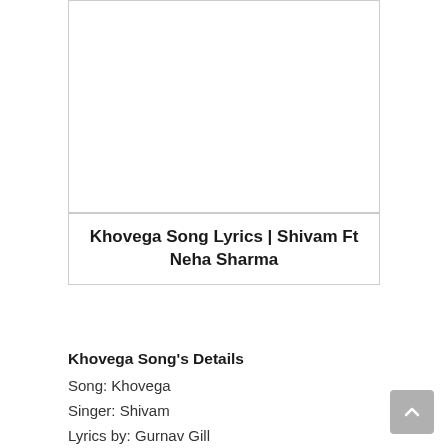[Figure (other): White rectangular image placeholder area with a border]
Khovega Song Lyrics | Shivam Ft Neha Sharma
Khovega Song's Details
Song: Khovega
Singer: Shivam
Lyrics by: Gurnav Gill
Music by: Jai S Raj
Music Label: Frame Phaad Productions